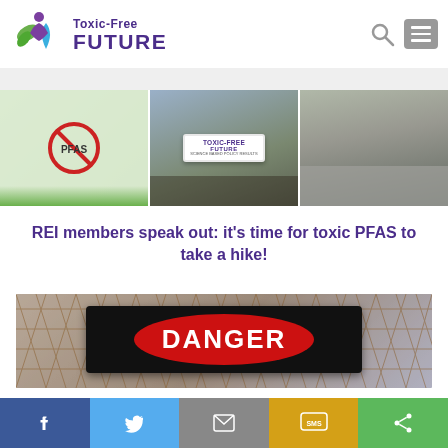[Figure (logo): Toxic-Free Future logo with green leaf and purple figure icon, text reads Toxic-Free FUTURE in purple]
[Figure (photo): Three-panel photo strip: left shows PFAS protest sign with red circle-slash, center shows group holding Toxic-Free Future banner, right shows people's feet and legs at a protest]
REI members speak out: it’s time for toxic PFAS to take a hike!
[Figure (photo): Photo of a chain-link fence with a red DANGER sign oval in the center]
Facebook share | Twitter share | Email share | SMS share | Share